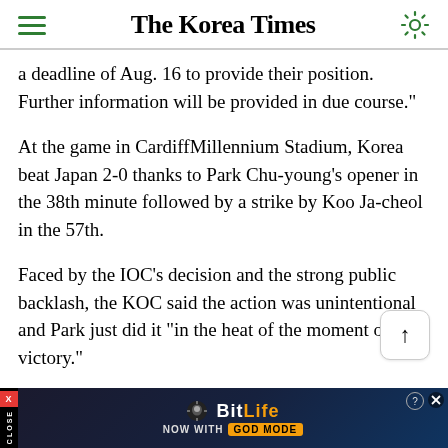The Korea Times
a deadline of Aug. 16 to provide their position. Further information will be provided in due course."
At the game in CardiffMillennium Stadium, Korea beat Japan 2-0 thanks to Park Chu-young's opener in the 38th minute followed by a strike by Koo Ja-cheol in the 57th.
Faced by the IOC's decision and the strong public backlash, the KOC said the action was unintentional and Park just did it "in the heat of the moment of victory."
Only 17 players stood on the podium to receive
[Figure (other): Advertisement banner for BitLife game - 'NOW WITH GOD MODE']